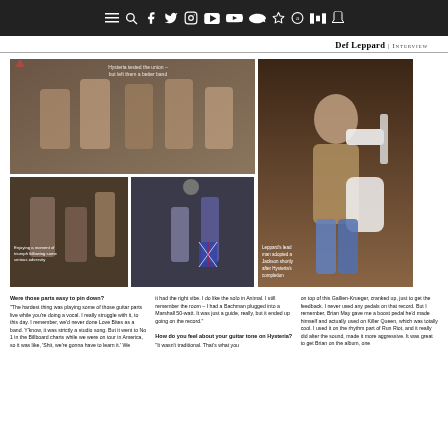Def Leppard | INTERVIEW
[Figure (photo): Def Leppard band group photo from the 1980s, with caption: Hysteria tested the union – but left them a better band]
Hysteria tested the union – but left them a better band
[Figure (photo): Def Leppard performing on stage, with caption: Enjoying a moment of triumph following some serious adversity]
Enjoying a moment of triumph following some serious adversity
[Figure (photo): Def Leppard concert performance with Union Jack trousers]
[Figure (photo): Leppard's lead man with a Jackson guitar shortly after Hysteria's completion. Caption: Leppard's lead man adopted a Jackson shortly after Hysteria's completion]
Leppard's lead man adopted a Jackson shortly after Hysteria's completion
Were those parts easy to pin down?
"The hardest thing was playing some of those guitar parts live while you're doing a vocal. I really struggle with it, to this day. I remember, we'd never done Love Bites as a band. Y'know, it was strictly a studio song. But it went to No 1 in the Billboard charts while we were on tour in America, so it was like, 'Shit, we're gonna have to learn it.' We
it had the right vibe. I do like the solo in Animal. I still remember the room – I had a Bachman plugged into a Marshall 50-watt. It was just a guide, really, but it ended up going on the record."

How do you feel about your guitar tone on Hysteria?
"It wasn't traditional. That's what you
on top of this Gallien-Krueger, cranked up, just to get the feedback. I never used any pedals on that record. But I remember, Brian May gave me a boost pedal he'd made himself and actually used on Killer Queen, which was totally cool. I used it on the rhythm part of Run Riot, and it really did alter the sound, made it more aggressive. It was great to get Brian on the album, one